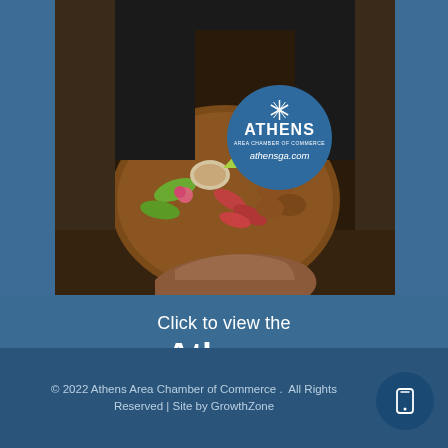[Figure (photo): A chef or server holding a large wooden board platter with assorted appetizers, meats, and garnishes. An Athens Area Chamber of Commerce circular badge logo overlay reads 'ATHENS AREA CHAMBER OF COMMERCE athensga.com']
Click to view the
Athens
Quality of Life Guide
© 2022 Athens Area Chamber of Commerce .  All Rights Reserved | Site by GrowthZone